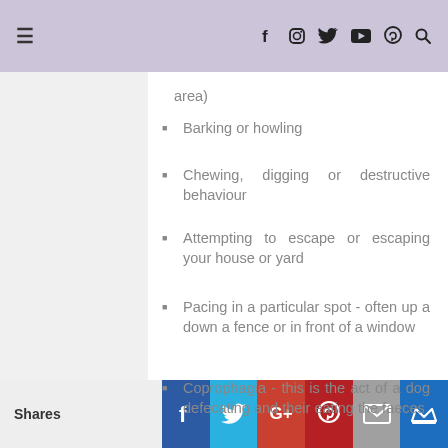≡  f  [instagram]  [twitter]  [youtube]  [pinterest]  [search]
area)
Barking or howling
Chewing, digging or destructive behaviour
Attempting to escape or escaping your house or yard
Pacing in a particular spot - often up a down a fence or in front of a window
Coprophagia - this is the act of a dog defecating and their eating the faeces
Shares  [Facebook]  [Twitter]  [Google+]  [Pinterest]  [Email]  [Crown]